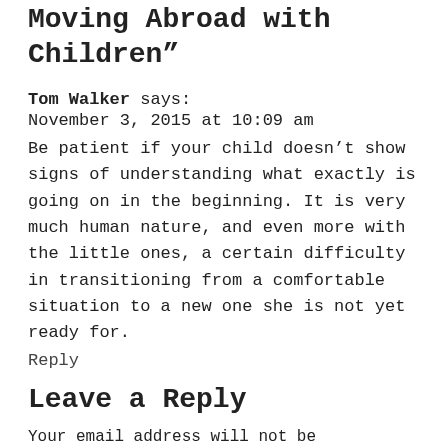One response to “Tips for Moving Abroad with Children”
Tom Walker says:
November 3, 2015 at 10:09 am
Be patient if your child doesn’t show signs of understanding what exactly is going on in the beginning. It is very much human nature, and even more with the little ones, a certain difficulty in transitioning from a comfortable situation to a new one she is not yet ready for.
Reply
Leave a Reply
Your email address will not be published. Required fields are marked *
Comment